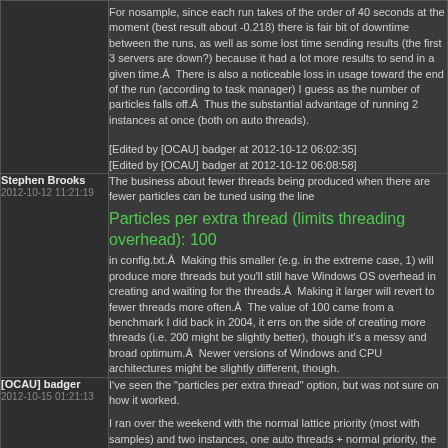For nosample, since each run takes of the order of 40 seconds at the moment (best result about -0.218) there is fair bit of downtime between the runs, as well as some lost time sending results (the first 3 servers are down?) because it had a lot more results to send in a given time.Â  There is also a noticeable loss in usage toward the end of the run (according to task manager) I guess as the number of particles falls off.Â  Thus the substantial advantage of running 2 instances at once (both on auto threads).
[Edited by [OCAU] badger at 2012-10-12 06:02:35]
[Edited by [OCAU] badger at 2012-10-12 06:08:58]
Stephen Brooks
2012-10-12 11:21:19
The business about fewer threads being produced when there are fewer particles can be tuned using the line
Particles per extra thread (limits threading overhead): 100
in config.txt.Â  Making this smaller (e.g. in the extreme case, 1) will produce more threads but you'll still have Windows OS overhead in creating and waiting for the threads.Â  Making it larger will revert to fewer threads more often.Â  The value of 100 came from a benchmark I did back in 2004, it errs on the side of creating more threads (i.e. 200 might be slightly better), though it's a messy and broad optimum.Â  Newer versions of Windows and CPU architectures might be slightly different, though.
[OCAU] badger
2012-10-15 01:21:13
I've seen the "particles per extra thread" option, but was not sure on how it worked.

I ran over the weekend with the normal lattice priority (most with samples) and two instances, one auto threads + normal priority, the other set to 4 threads and background priority, to try to "mop up" unused CPU cycles.